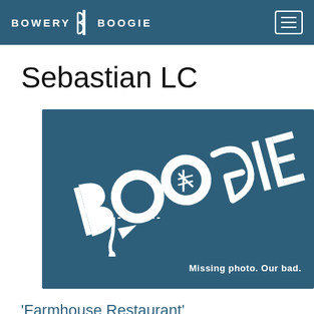BOWERY BOOGIE
Sebastian LC
[Figure (logo): Bowery Boogie graffiti-style logo placeholder image on dark blue background with text 'Missing photo. Our bad.']
'Farmhouse Restaurant'